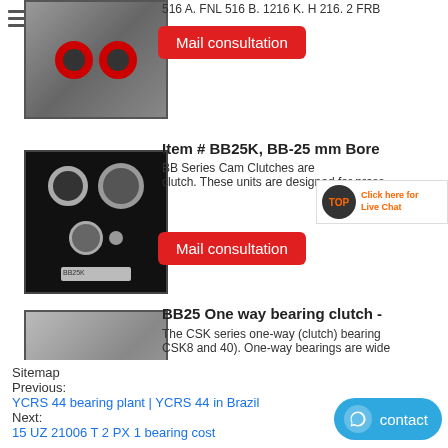[Figure (photo): Two red bearing rings on dark background]
516 A. FNL 516 B. 1216 K. H 216. 2 FRB
Mail consultation
Item # BB25K, BB-25 mm Bore
[Figure (photo): BB Series Cam Clutch bearing components on black background]
BB Series Cam Clutches are clutch. These units are designed for press
[Figure (logo): TOP Live Chat overlay logo]
Mail consultation
BB25 One way bearing clutch -
[Figure (photo): Two oval one-way bearing clutch rings on grey background]
The CSK series one-way (clutch) bearing CSK8 and 40). One-way bearings are wide
Mail consultation
Sitemap
Previous:
YCRS 44 bearing plant | YCRS 44 in Brazil
Next:
15 UZ 21006 T 2 PX 1 bearing cost
[Figure (other): Blue contact button with chat icon]